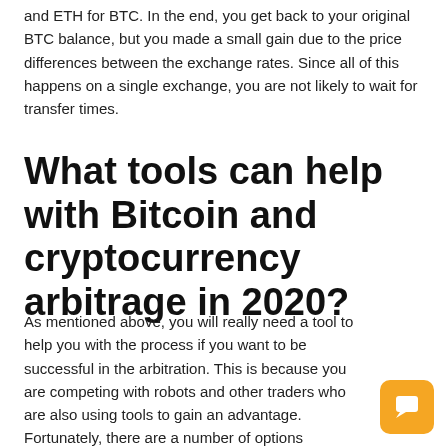and ETH for BTC. In the end, you get back to your original BTC balance, but you made a small gain due to the price differences between the exchange rates. Since all of this happens on a single exchange, you are not likely to wait for transfer times.
What tools can help with Bitcoin and cryptocurrency arbitrage in 2020?
As mentioned above, you will really need a tool to help you with the process if you want to be successful in the arbitration. This is because you are competing with robots and other traders who are also using tools to gain an advantage. Fortunately, there are a number of options available for crypto arbitrage apps which all help